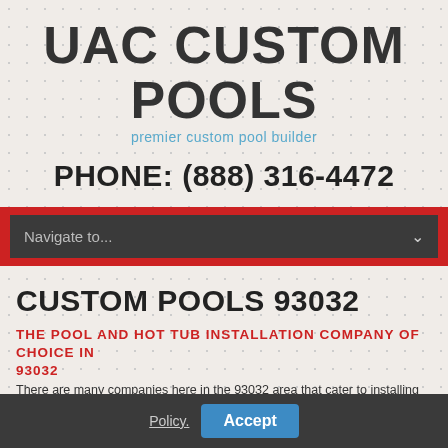UAC CUSTOM POOLS
premier custom pool builder
PHONE: (888) 316-4472
Navigate to...
CUSTOM POOLS 93032
THE POOL AND HOT TUB INSTALLATION COMPANY OF CHOICE IN 93032
Policy.   Accept
There are many companies here in the 93032 area that cater to installing po...